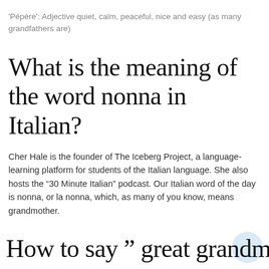'Pépère': Adjective quiet, calm, peaceful, nice and easy (as many grandfathers are)
What is the meaning of the word nonna in Italian?
Cher Hale is the founder of The Iceberg Project, a language-learning platform for students of the Italian language. She also hosts the “30 Minute Italian” podcast. Our Italian word of the day is nonna, or la nonna, which, as many of you know, means grandmother.
How to say ” great grandmother